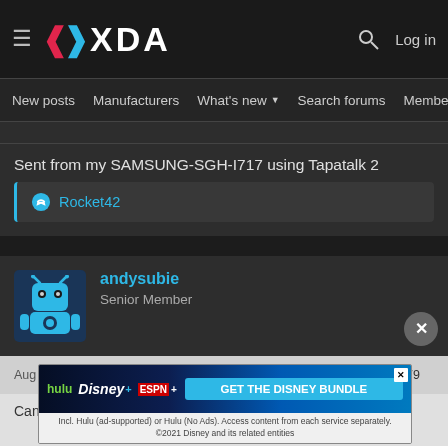XDA Forums header with hamburger menu, XDA logo, search icon, Log in
New posts | Manufacturers | What's new | Search forums | Membe >
Sent from my SAMSUNG-SGH-I717 using Tapatalk 2
Rocket42 (reaction/like)
andysubie
Senior Member
Aug 3, 2012
Can some...
[Figure (screenshot): Disney Bundle advertisement banner: hulu, Disney+, ESPN+ logos with 'GET THE DISNEY BUNDLE' CTA button. Fine print: Incl. Hulu (ad-supported) or Hulu (No Ads). Access content from each service separately. ©2021 Disney and its related entities]